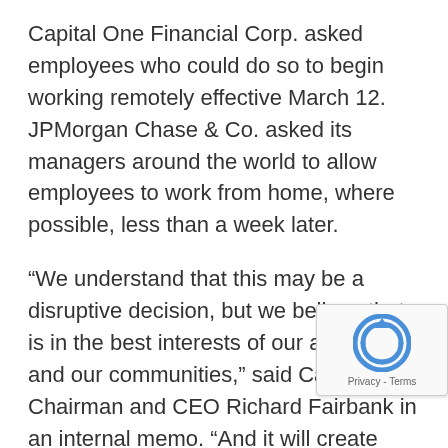Capital One Financial Corp. asked employees who could do so to begin working remotely effective March 12. JPMorgan Chase & Co. asked its managers around the world to allow employees to work from home, where possible, less than a week later.
“We understand that this may be a disruptive decision, but we believe that is in the best interests of our associates and our communities,” said Capital One Chairman and CEO Richard Fairbank in an internal memo. “And it will create more space and distance for those who still need to come into work.”
Some employees — those in customer-facing positions, for example — can’t work from home. But remote work can keep others safe and enable in-branch workers to better practice so-called social distancing, helping to prevent the spread of the novel coronavirus while